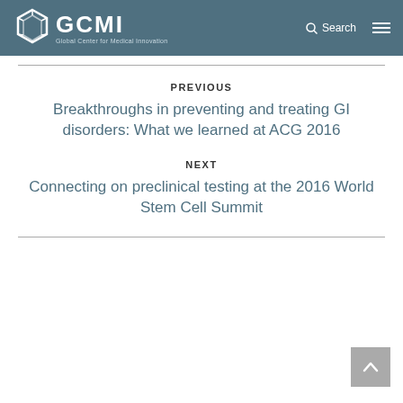[Figure (logo): GCMI - Global Center for Medical Innovation logo with hexagonal icon on teal/blue-grey header bar with Search and hamburger menu icons]
PREVIOUS
Breakthroughs in preventing and treating GI disorders: What we learned at ACG 2016
NEXT
Connecting on preclinical testing at the 2016 World Stem Cell Summit